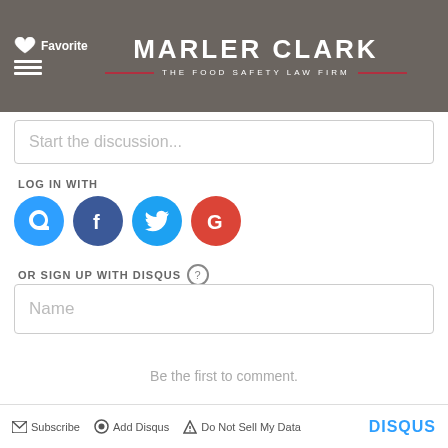[Figure (logo): Marler Clark - The Food Safety Law Firm logo on dark gray header bar with hamburger menu and Favorite icon]
Start the discussion...
LOG IN WITH
[Figure (illustration): Social login buttons: Disqus (blue circle with D), Facebook (dark blue circle with f), Twitter (light blue circle with bird), Google (red circle with G)]
OR SIGN UP WITH DISQUS ?
Name
Be the first to comment.
Subscribe  Add Disqus  Do Not Sell My Data  DISQUS